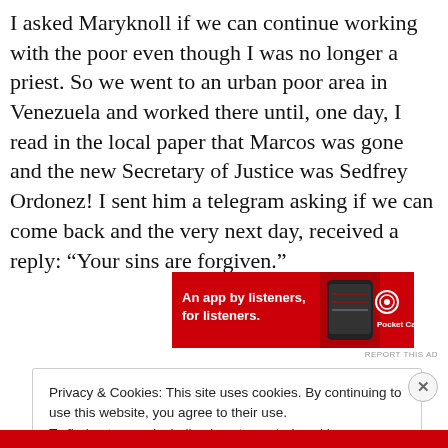I asked Maryknoll if we can continue working with the poor even though I was no longer a priest. So we went to an urban poor area in Venezuela and worked there until, one day, I read in the local paper that Marcos was gone and the new Secretary of Justice was Sedfrey Ordonez! I sent him a telegram asking if we can come back and the very next day, received a reply: “Your sins are forgiven.”
[Figure (other): Pocket Casts advertisement banner: red background with text 'An app by listeners, for listeners.' and Pocket Casts logo]
REPORT THIS AD
Privacy & Cookies: This site uses cookies. By continuing to use this website, you agree to their use.
To find out more, including how to control cookies, see here: Cookie Policy
Close and accept